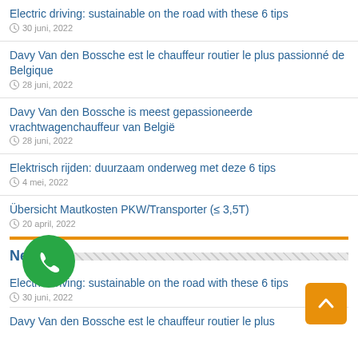Electric driving: sustainable on the road with these 6 tips
30 juni, 2022
Davy Van den Bossche est le chauffeur routier le plus passionné de Belgique
28 juni, 2022
Davy Van den Bossche is meest gepassioneerde vrachtwagenchauffeur van België
28 juni, 2022
Elektrisch rijden: duurzaam onderweg met deze 6 tips
4 mei, 2022
Übersicht Mautkosten PKW/Transporter (≤ 3,5T)
20 april, 2022
News
Electric driving: sustainable on the road with these 6 tips
30 juni, 2022
Davy Van den Bossche est le chauffeur routier le plus